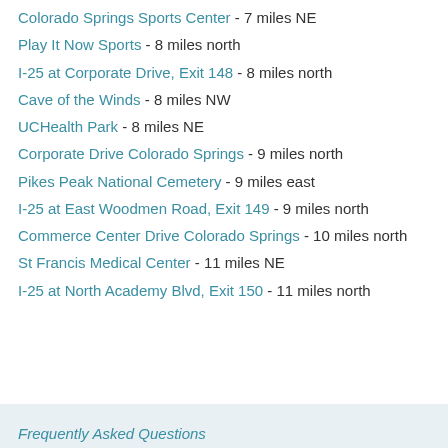Colorado Springs Sports Center - 7 miles NE
Play It Now Sports - 8 miles north
I-25 at Corporate Drive, Exit 148 - 8 miles north
Cave of the Winds - 8 miles NW
UCHealth Park - 8 miles NE
Corporate Drive Colorado Springs - 9 miles north
Pikes Peak National Cemetery - 9 miles east
I-25 at East Woodmen Road, Exit 149 - 9 miles north
Commerce Center Drive Colorado Springs - 10 miles north
St Francis Medical Center - 11 miles NE
I-25 at North Academy Blvd, Exit 150 - 11 miles north
Frequently Asked Questions